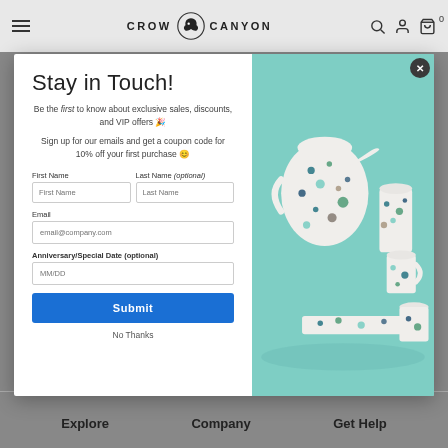CROW CANYON
Stay in Touch!
Be the first to know about exclusive sales, discounts, and VIP offers 🎉
Sign up for our emails and get a coupon code for 10% off your first purchase 😊
First Name | Last Name (optional)
Email
Anniversary/Special Date (optional)
[Figure (photo): Speckled ceramic pitcher, tumblers and mugs on teal background]
Submit
No Thanks
Explore   Company   Get Help